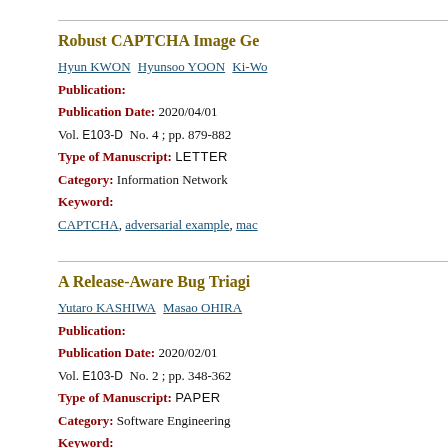Robust CAPTCHA Image Ge…
Hyun KWON  Hyunsoo YOON  Ki-Wo…
Publication:
Publication Date: 2020/04/01
Vol. E103-D  No. 4 ; pp. 879-882
Type of Manuscript:  LETTER
Category:  Information Network
Keyword:
CAPTCHA, adversarial example, mac…
A Release-Aware Bug Triagi…
Yutaro KASHIWA  Masao OHIRA
Publication:
Publication Date: 2020/02/01
Vol. E103-D  No. 2 ; pp. 348-362
Type of Manuscript:  PAPER
Category:  Software Engineering
Keyword:
bug triage, optimization, project mana…